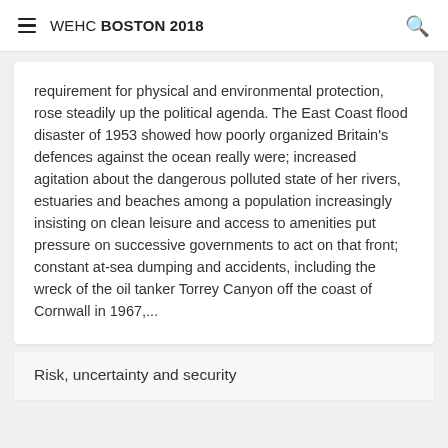WEHC BOSTON 2018
requirement for physical and environmental protection, rose steadily up the political agenda. The East Coast flood disaster of 1953 showed how poorly organized Britain's defences against the ocean really were; increased agitation about the dangerous polluted state of her rivers, estuaries and beaches among a population increasingly insisting on clean leisure and access to amenities put pressure on successive governments to act on that front; constant at-sea dumping and accidents, including the wreck of the oil tanker Torrey Canyon off the coast of Cornwall in 1967,...
Risk, uncertainty and security